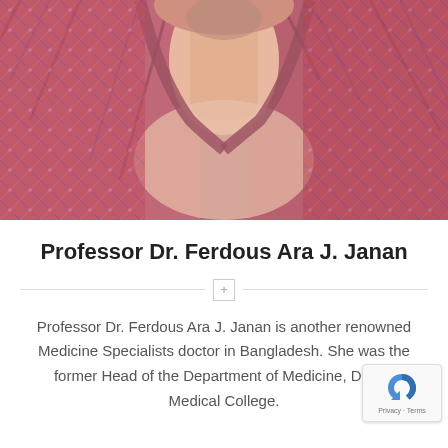[Figure (photo): Close-up photo of Professor Dr. Ferdous Ara J. Janan, showing the neck and upper chest area, wearing a colorful patterned garment with red and blue tones.]
Professor Dr. Ferdous Ara J. Janan
Professor Dr. Ferdous Ara J. Janan is another renowned Medicine Specialists doctor in Bangladesh. She was the former Head of the Department of Medicine, Dhaka Medical College.